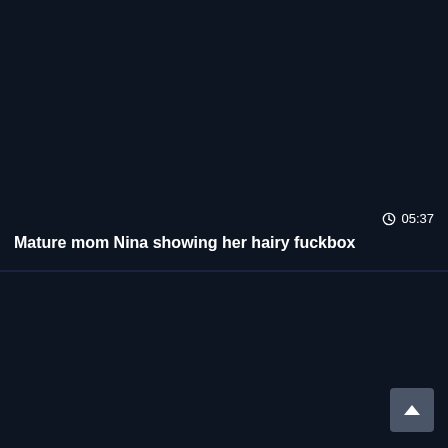[Figure (screenshot): Dark navy video thumbnail card, top half, with duration overlay]
05:37
Mature mom Nina showing her hairy fuckbox
[Figure (screenshot): Dark navy video thumbnail card, bottom half, with scroll-to-top button]